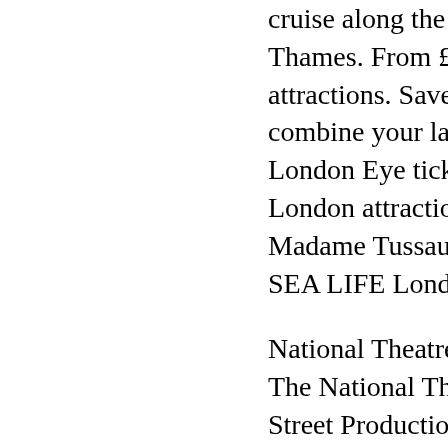cruise along the famous River Thames. From £50 for 2 attractions. Save up to 33 and combine your lastminute.com London Eye ticket with another London attractions including Madame Tussauds London and SEA LIFE London Aquarium!
National Theatre London, UK. The National Theatre and Neal Street Productions Tony Award-winning Best Play makes a triumphant return to London's West End from 24 January 202. Hailed by The New York Times 'a' genuinely epic production, The Lehman Trilogy is the story of a family and a company that changed the world.
University of the Arts London. Search. University of the Arts London. Caption. Caption. Arrow Right. Arrow Right. Caption.